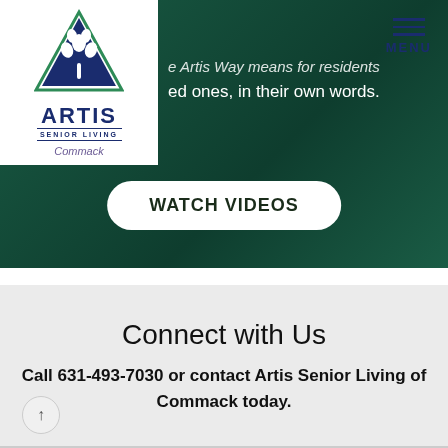[Figure (logo): Artis Senior Living Commack logo with green triangle and white tree, white background box in top left]
e Artis Way means for residents ed ones, in their own words.
WATCH VIDEOS
Connect with Us
Call 631-493-7030 or contact Artis Senior Living of Commack today.